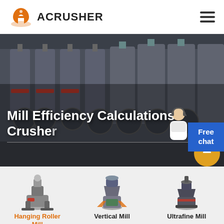[Figure (logo): Acrusher logo with orange hard hat icon and bold text ACRUSHER]
[Figure (photo): Industrial mill machinery in a factory hall, multiple large vertical mill machines in a row]
Mill Efficiency Calculations Crusher
[Figure (infographic): Blue Free chat badge with female customer support agent illustration and orange scroll-to-top button]
[Figure (photo): Hanging Roller Mill machine product photo]
Hanging Roller Mill
[Figure (photo): Vertical Mill machine product photo]
Vertical Mill
[Figure (photo): Ultrafine Mill machine product photo]
Ultrafine Mill